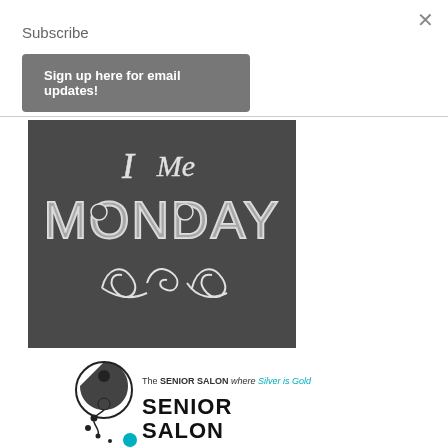×
Subscribe
Sign up here for email updates!
[Figure (illustration): Chalkboard-style image with decorative hand-lettered text reading 'I Me MONDAY' with ornamental flourishes on a dark gray chalkboard background]
[Figure (logo): Senior Salon logo with decorative musical note / swirl graphic on the left and text reading 'The SENIOR SALON where Silver is Gold' above bold text 'SENIOR SALON']